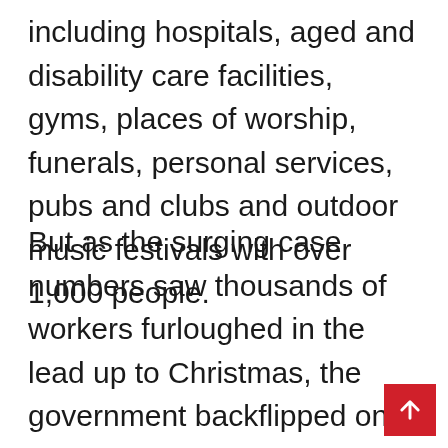including hospitals, aged and disability care facilities, gyms, places of worship, funerals, personal services, pubs and clubs and outdoor music festivals with over 1,000 people.
But as the surging case numbers saw thousands of workers furloughed in the lead up to Christmas, the government backflipped on the decision a week later, when the premier, Dominic Perrottet, announced mandatory QR codes would return along with an indoor mask mandate.